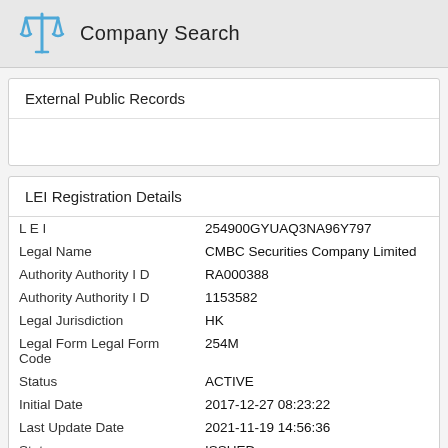Company Search
External Public Records
LEI Registration Details
| Field | Value |
| --- | --- |
| L E I | 254900GYUAQ3NA96Y797 |
| Legal Name | CMBC Securities Company Limited |
| Authority Authority I D | RA000388 |
| Authority Authority I D | 1153582 |
| Legal Jurisdiction | HK |
| Legal Form Legal Form Code | 254M |
| Status | ACTIVE |
| Initial Date | 2017-12-27 08:23:22 |
| Last Update Date | 2021-11-19 14:56:36 |
| Status | ISSUED |